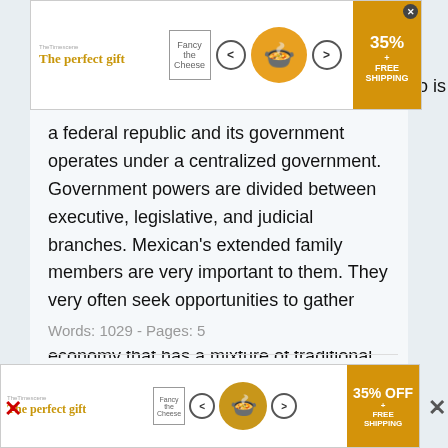[Figure (screenshot): Advertisement banner for 'The perfect gift' showing a bowl of food with navigation arrows and '35% FREE SHIPPING' offer]
a federal republic and its government operates under a centralized government. Government powers are divided between executive, legislative, and judicial branches. Mexican's extended family members are very important to them. They very often seek opportunities to gather with each other. Mexico has a free-market economy that has a mixture of traditional and modern industry and agriculture (Ansters, 2011). Mexican economy has experienced internationalization, privatization, and......
Words: 1029 - Pages: 5
Campaign Contributions
...and politicians do the will of the highest bidder.
[Figure (screenshot): Advertisement banner for 'The perfect gift' showing a bowl of food with navigation arrows and '35% OFF + FREE SHIPPING' offer]